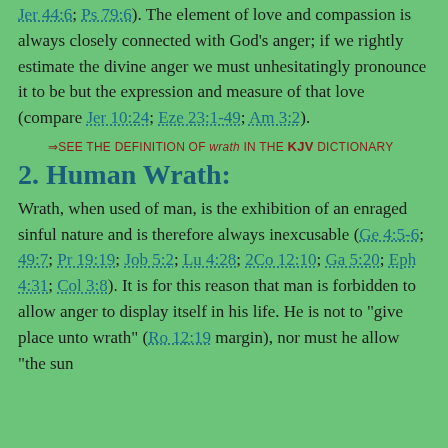Jer 44:6; Ps 79:6). The element of love and compassion is always closely connected with God's anger; if we rightly estimate the divine anger we must unhesitatingly pronounce it to be but the expression and measure of that love (compare Jer 10:24; Eze 23:1-49; Am 3:2).
⇒See the definition of wrath in the KJV Dictionary
2. Human Wrath:
Wrath, when used of man, is the exhibition of an enraged sinful nature and is therefore always inexcusable (Ge 4:5-6; 49:7; Pr 19:19; Job 5:2; Lu 4:28; 2Co 12:10; Ga 5:20; Eph 4:31; Col 3:8). It is for this reason that man is forbidden to allow anger to display itself in his life. He is not to "give place unto wrath" (Ro 12:19 margin), nor must he allow "the sun